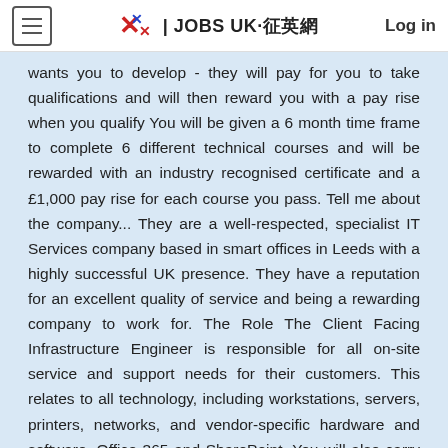JOBS UK·征英網 | Log in
wants you to develop - they will pay for you to take qualifications and will then reward you with a pay rise when you qualify You will be given a 6 month time frame to complete 6 different technical courses and will be rewarded with an industry recognised certificate and a £1,000 pay rise for each course you pass. Tell me about the company... They are a well-respected, specialist IT Services company based in smart offices in Leeds with a highly successful UK presence. They have a reputation for an excellent quality of service and being a rewarding company to work for. The Role The Client Facing Infrastructure Engineer is responsible for all on-site service and support needs for their customers. This relates to all technology, including workstations, servers, printers, networks, and vendor-specific hardware and software, Office 365 and SharePoint. You will also carry out Project work. You will start off in a trainee position working closely with other established Client Facing Infrastructure Engineers and doing most of your